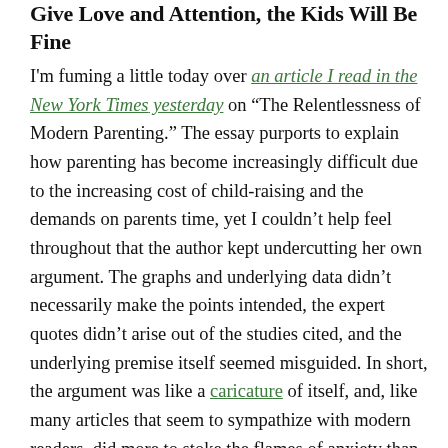Give Love and Attention, the Kids Will Be Fine
I'm fuming a little today over an article I read in the New York Times yesterday on “The Relentlessness of Modern Parenting.” The essay purports to explain how parenting has become increasingly difficult due to the increasing cost of child-raising and the demands on parents time, yet I couldn’t help feel throughout that the author kept undercutting her own argument. The graphs and underlying data didn’t necessarily make the points intended, the expert quotes didn’t arise out of the studies cited, and the underlying premise itself seemed misguided. In short, the argument was like a caricature of itself, and, like many articles that seem to sympathize with modern readers, did more to stoke the flames of anxiety than to soothe them.